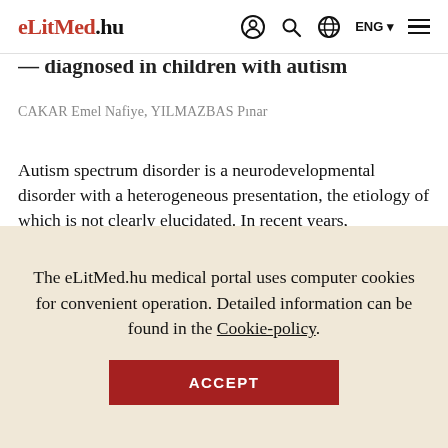eLitMed.hu  ENG
diagnosed in children with autism
CAKAR Emel Nafiye, YILMAZBAS Pınar
Autism spectrum disorder is a neurodevelopmental disorder with a heterogeneous presentation, the etiology of which is not clearly elucidated. In recent years, comorbidity has become more evident with the increase in the frequency of autism and diagnostic possibilities of
The eLitMed.hu medical portal uses computer cookies for convenient operation. Detailed information can be found in the Cookie-policy.
ACCEPT